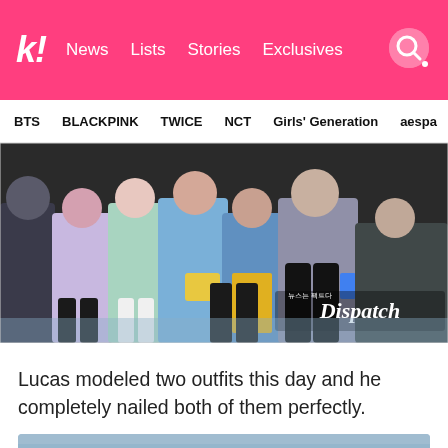koreaboo logo, News, Lists, Stories, Exclusives, search icon
BTS  BLACKPINK  TWICE  NCT  Girls' Generation  aespa
[Figure (photo): Group of K-pop female idols sitting in a row at a fashion show front row, wearing various outfits. Dispatch watermark visible in lower center of image.]
Lucas modeled two outfits this day and he completely nailed both of them perfectly.
[Figure (photo): Partially visible blue-toned image at bottom of page]